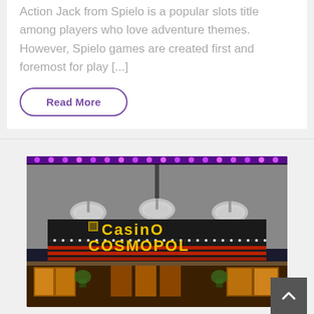Action Jack from Spielo is a popular slots title among players who love adventure themes. However, Spielo games are created first and foremost for play [...]
Read More
[Figure (photo): Photo of Casino Cosmopol building exterior at night with purple LED lights along roofline, neon sign reading 'Casino Cosmopol' in yellow and red letters, three round metallic lamps on facade, and illuminated entrance below.]